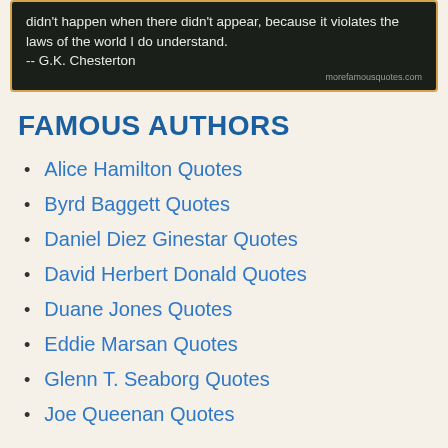[Figure (photo): Dark background with white quote text and attribution to G.K. Chesterton, with morefamousquotes.com watermark]
FAMOUS AUTHORS
Alice Hamilton Quotes
Byrd Baggett Quotes
Daniel Diez Ginestar Quotes
David Herbert Donald Quotes
Duane Jones Quotes
Eddie Marsan Quotes
Glenn T. Seaborg Quotes
Joe Queenan Quotes